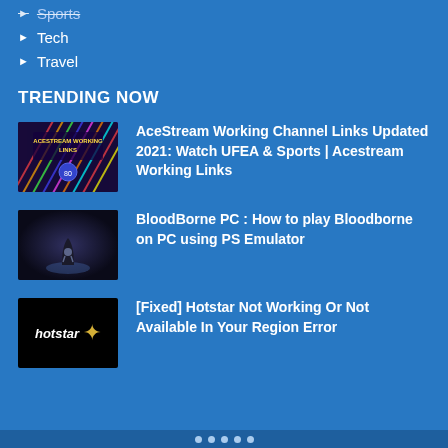Sports
Tech
Travel
TRENDING NOW
[Figure (screenshot): AceStream Working Links thumbnail - colorful diagonal lines on dark purple background with text overlay]
AceStream Working Channel Links Updated 2021: Watch UFEA & Sports | Acestream Working Links
[Figure (screenshot): BloodBorne PC game screenshot - dark atmospheric scene with character]
BloodBorne PC : How to play Bloodborne on PC using PS Emulator
[Figure (logo): Hotstar logo - black background with white italic hotstar text and gold star]
[Fixed] Hotstar Not Working Or Not Available In Your Region Error